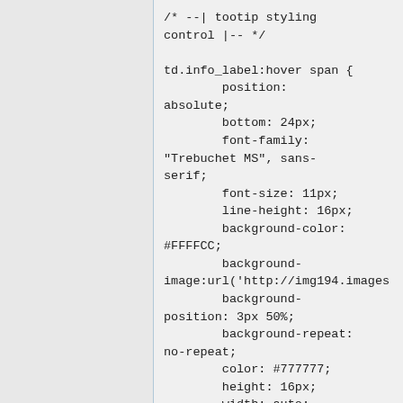/* --| tootip styling control |-- */

td.info_label:hover span {
        position: absolute;
        bottom: 24px;
        font-family: "Trebuchet MS", sans-serif;
        font-size: 11px;
        line-height: 16px;
        background-color: #FFFFCC;
        background-image:url('http://img194.images
        background-position: 3px 50%;
        background-repeat: no-repeat;
        color: #777777;
        height: 16px;
        width: auto;
        border: 1px solid #999999;